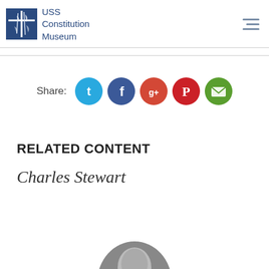USS Constitution Museum
[Figure (infographic): Share buttons row: Twitter (blue), Facebook (dark blue), Google+ (red), Pinterest (red), Email (green)]
RELATED CONTENT
Charles Stewart
[Figure (photo): Partial circular portrait photograph of Charles Stewart, cropped at bottom of page]